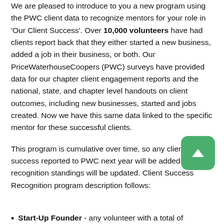We are pleased to introduce to you a new program using the PWC client data to recognize mentors for your role in 'Our Client Success'. Over 10,000 volunteers have had clients report back that they either started a new business, added a job in their business, or both. Our PriceWaterhouseCoopers (PWC) surveys have provided data for our chapter client engagement reports and the national, state, and chapter level handouts on client outcomes, including new businesses, started and jobs created. Now we have this same data linked to the specific mentor for these successful clients.
This program is cumulative over time, so any client success reported to PWC next year will be added and our recognition standings will be updated. Client Success Recognition program description follows:
Start-Up Founder - any volunteer with a total of